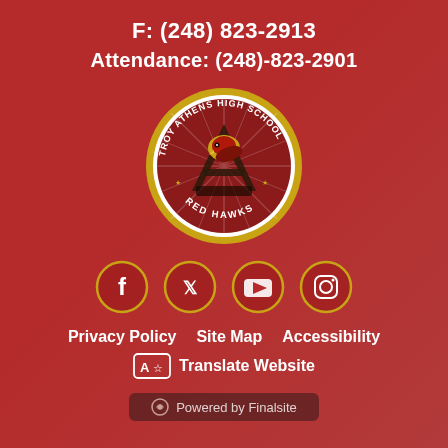F: (248) 823-2913
Attendance: (248)-823-2901
[Figure (logo): Troy Athens High School Red Hawks circular school logo with hawk and letter A]
[Figure (infographic): Social media icons: Facebook, Twitter, YouTube, Instagram — gold-outlined circles on red background]
Privacy Policy   Site Map   Accessibility
Translate Website
Powered by Finalsite